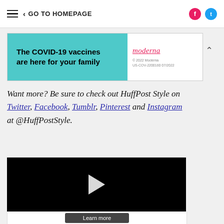≡ < GO TO HOMEPAGE
[Figure (infographic): Moderna COVID-19 vaccine advertisement banner: 'The COVID-19 vaccines are here for your family' on teal background, Moderna logo and fine print on white background, with chevron-up button.]
Want more? Be sure to check out HuffPost Style on Twitter, Facebook, Tumblr, Pinterest and Instagram at @HuffPostStyle.
[Figure (screenshot): Black video player with white play button triangle in center, with a 'Learn more' button partially visible below.]